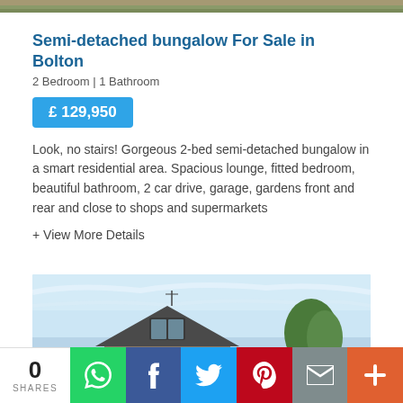[Figure (photo): Top strip of a property exterior photo, showing garden/driveway area]
Semi-detached bungalow For Sale in Bolton
2 Bedroom | 1 Bathroom
£ 129,950
Look, no stairs! Gorgeous 2-bed semi-detached bungalow in a smart residential area. Spacious lounge, fitted bedroom, beautiful bathroom, 2 car drive, garage, gardens front and rear and close to shops and supermarkets
+ View More Details
[Figure (photo): Exterior photo of a semi-detached bungalow in Bolton, showing the house front, roof, and a tree to the right against a blue sky]
0 SHARES